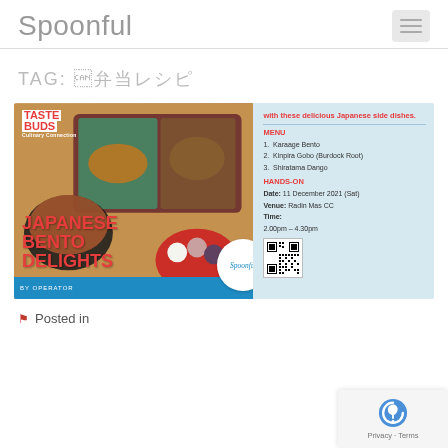Spoonful
TAG: 弁当レシピ
[Figure (photo): Japanese Bento Delights event flyer showing Japanese food photo on left with red text 'JAPANESE BENTO DELIGHTS' and Taste Buds logo, right panel on blue background with menu details: Karaage Bento, Kinpira Gobo (Burdock Root), Shiratama Dango; HANDS-ON date 11 December 2021 (Sat), Venue Radin Mas CC, Time 2.00pm-4.30pm, with QR code]
Posted in